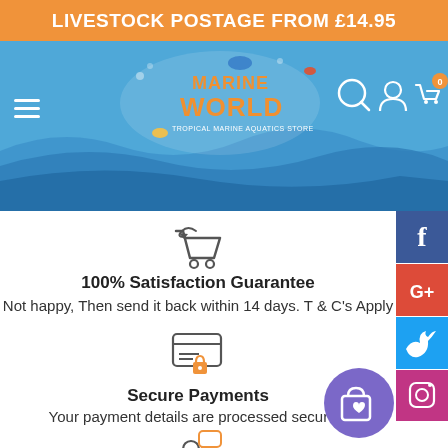LIVESTOCK POSTAGE FROM £14.95
[Figure (screenshot): Marine World tropical marine aquatics store navigation header with logo, hamburger menu, search, account and cart icons on blue background with wave design]
[Figure (illustration): Shopping cart with return arrow icon]
100% Satisfaction Guarantee
Not happy, Then send it back within 14 days. T & C's Apply
[Figure (illustration): Secure payment / credit card with lock icon]
Secure Payments
Your payment details are processed securely
[Figure (illustration): Customer support / person with speech bubble icon]
[Figure (illustration): Social media sidebar with Facebook, Google+, Twitter, Instagram buttons]
[Figure (illustration): Purple circular shopping wishlist button]